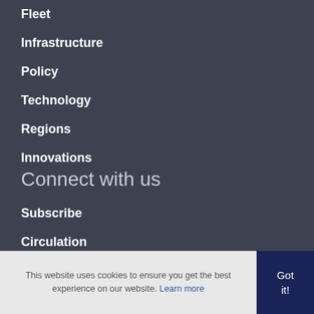Fleet
Infrastructure
Policy
Technology
Regions
Innovations
Connect with us
Subscribe
Circulation
This website uses cookies to ensure you get the best experience on our website. Learn more
Got it!